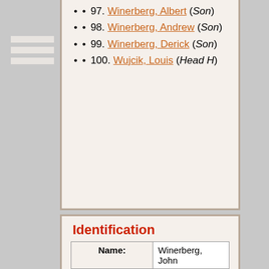97. Winerberg, Albert (Son)
98. Winerberg, Andrew (Son)
99. Winerberg, Derick (Son)
100. Wujcik, Louis (Head H)
Identification
| Name: | Soundex values: |
| --- | --- |
| Winerberg, John | W561

Soundex is a method f... |